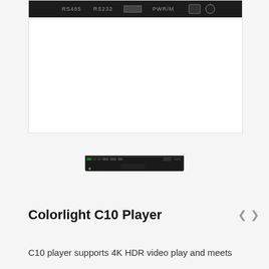[Figure (photo): Top portion of a black hardware device panel showing ports and labels including RS485, RS232, and PWR/M markings on a dark strip, shown inside a white bordered frame]
[Figure (photo): Small black flat rectangular media player device (Colorlight C10) shown in a small product thumbnail view]
Colorlight C10 Player
C10 player supports 4K HDR video play and meets